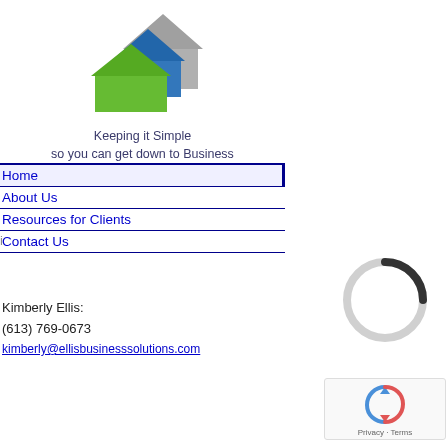[Figure (logo): Three stacked house icons in gray, blue, and green forming a logo]
Keeping it Simple
so you can get down to Business
Home
About Us
Resources for Clients
Contact Us
Kimberly Ellis:
(613) 769-0673
kimberly@ellisbusinesssolutions.com
[Figure (other): Circular loading spinner graphic]
[Figure (other): reCAPTCHA widget with Privacy and Terms links]